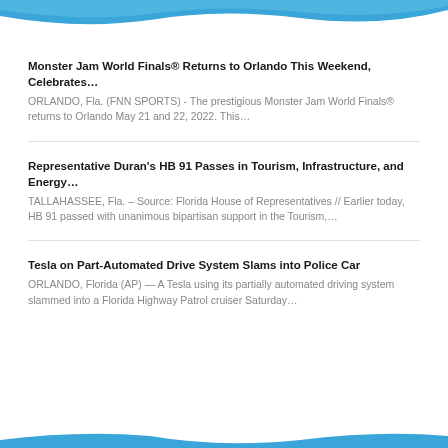[Figure (illustration): Blue wave/arc decorative header graphic at the top of the page]
Monster Jam World Finals® Returns to Orlando This Weekend, Celebrates…
ORLANDO, Fla. (FNN SPORTS) - The prestigious Monster Jam World Finals® returns to Orlando May 21 and 22, 2022. This…
Representative Duran's HB 91 Passes in Tourism, Infrastructure, and Energy…
TALLAHASSEE, Fla. – Source: Florida House of Representatives // Earlier today, HB 91 passed with unanimous bipartisan support in the Tourism,…
Tesla on Part-Automated Drive System Slams into Police Car
ORLANDO, Florida (AP) — A Tesla using its partially automated driving system slammed into a Florida Highway Patrol cruiser Saturday…
[Figure (illustration): Blue wave/arc decorative footer graphic at the bottom of the page]